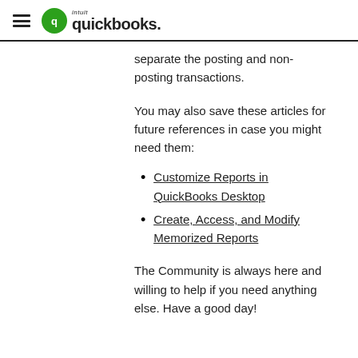intuit quickbooks
separate the posting and non-posting transactions.
You may also save these articles for future references in case you might need them:
Customize Reports in QuickBooks Desktop
Create, Access, and Modify Memorized Reports
The Community is always here and willing to help if you need anything else. Have a good day!